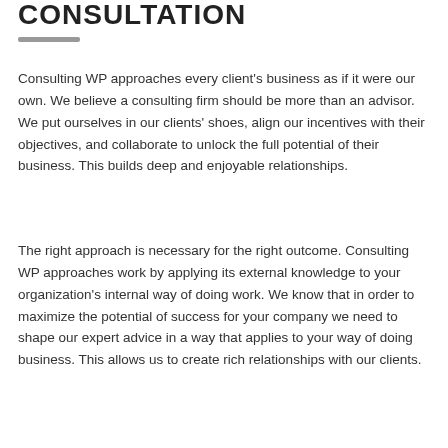CONSULTATION
Consulting WP approaches every client's business as if it were our own. We believe a consulting firm should be more than an advisor. We put ourselves in our clients' shoes, align our incentives with their objectives, and collaborate to unlock the full potential of their business. This builds deep and enjoyable relationships.
The right approach is necessary for the right outcome. Consulting WP approaches work by applying its external knowledge to your organization's internal way of doing work. We know that in order to maximize the potential of success for your company we need to shape our expert advice in a way that applies to your way of doing business. This allows us to create rich relationships with our clients.